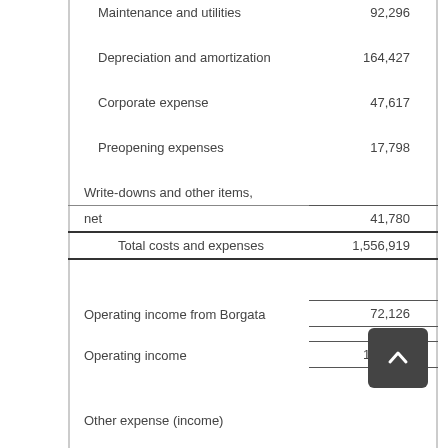|  |  |
| --- | --- |
| Maintenance and utilities | 92,296 |
| Depreciation and amortization | 164,427 |
| Corporate expense | 47,617 |
| Preopening expenses | 17,798 |
| Write-downs and other items, net | 41,780 |
| Total costs and expenses | 1,556,919 |
| Operating income from Borgata | 72,126 |
| Operating income | 156,193 |
| Other expense (income) |  |
| Interest income | (163) |
| Interest expense, net of amounts capitalized | 146,830 |